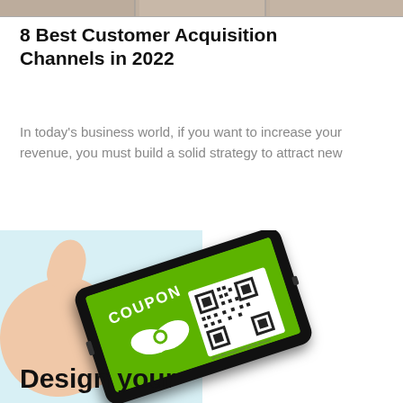[Figure (photo): Cropped banner image strip at the top of the page showing partial photo content]
8 Best Customer Acquisition Channels in 2022
In today's business world, if you want to increase your revenue, you must build a solid strategy to attract new
[Figure (photo): Hand holding a smartphone displaying a green coupon screen with QR code and the text COUPON; below the phone image is the text 'Design your']